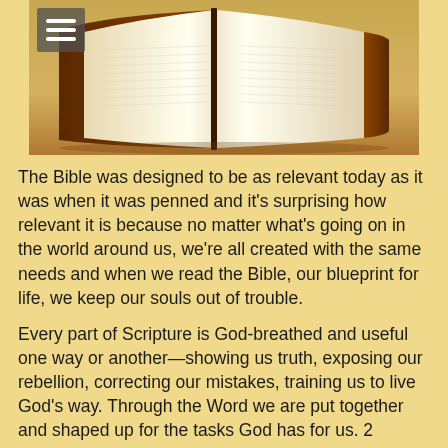[Figure (photo): Open Bible book photographed from above on a warm brown background, with a hamburger menu icon overlay in the top-left corner]
The Bible was designed to be as relevant today as it was when it was penned and it's surprising how relevant it is because no matter what's going on in the world around us, we're all created with the same needs and when we read the Bible, our blueprint for life, we keep our souls out of trouble.
Every part of Scripture is God-breathed and useful one way or another—showing us truth, exposing our rebellion, correcting our mistakes, training us to live God's way. Through the Word we are put together and shaped up for the tasks God has for us. 2 Timothy 3:16 MSG:
The bible is so practical! Here are some examples of wisdom you'll glean from God's Word:
Lady Wisdom Calls Out: